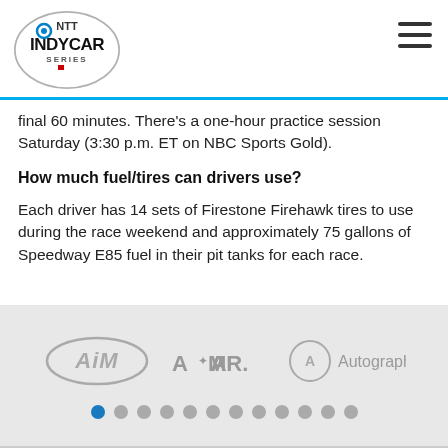NTT INDYCAR SERIES
final 60 minutes. There’s a one-hour practice session Saturday (3:30 p.m. ET on NBC Sports Gold).
How much fuel/tires can drivers use?
Each driver has 14 sets of Firestone Firehawk tires to use during the race weekend and approximately 75 gallons of Speedway E85 fuel in their pit tanks for each race.
[Figure (logo): Sponsor logos carousel: AiM, AMR, Autograph with pagination dots below]